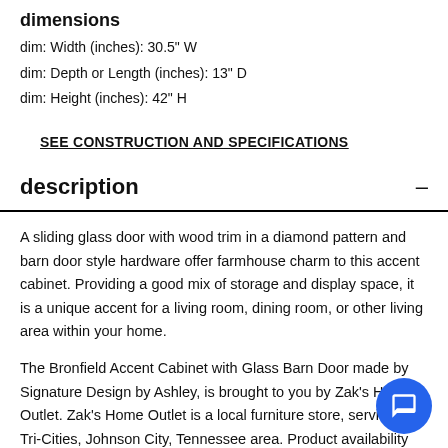dimensions
dim: Width (inches): 30.5" W
dim: Depth or Length (inches): 13" D
dim: Height (inches): 42" H
SEE CONSTRUCTION AND SPECIFICATIONS
description
A sliding glass door with wood trim in a diamond pattern and barn door style hardware offer farmhouse charm to this accent cabinet. Providing a good mix of storage and display space, it is a unique accent for a living room, dining room, or other living area within your home.
The Bronfield Accent Cabinet with Glass Barn Door made by Signature Design by Ashley, is brought to you by Zak's Home Outlet. Zak's Home Outlet is a local furniture store, serving the Tri-Cities, Johnson City, Tennessee area. Product availability may vary. Contact us